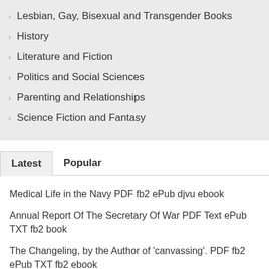Lesbian, Gay, Bisexual and Transgender Books
History
Literature and Fiction
Politics and Social Sciences
Parenting and Relationships
Science Fiction and Fantasy
Latest	Popular
Medical Life in the Navy PDF fb2 ePub djvu ebook
Annual Report Of The Secretary Of War PDF Text ePub TXT fb2 book
The Changeling, by the Author of 'canvassing'. PDF fb2 ePub TXT fb2 ebook
Gaelic Names of Plants, (Scottish and Irish) Collected and Arranged in Scientific Order, With, Notes on Their